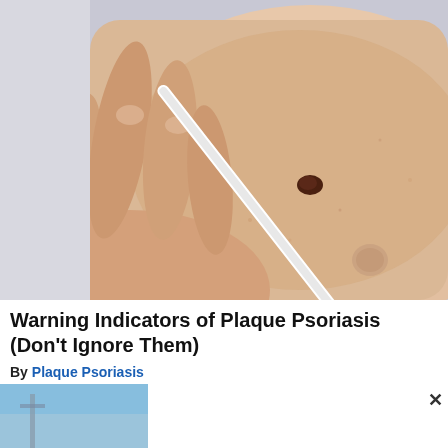[Figure (photo): Close-up photo of a hand holding a white pen/stylus near a mole on skin, with another smaller skin lesion visible. Light skin tone, clinical examination context.]
Warning Indicators of Plaque Psoriasis (Don't Ignore Them)
By Plaque Psoriasis
[Figure (photo): Partial view of an outdoor scene with sky visible on the left side, and a dark scene on the right side, obscured by a white modal dialog overlay with an X close button.]